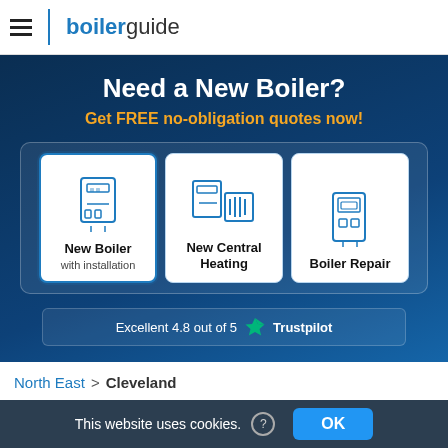[Figure (logo): Boiler Guide logo with hamburger menu icon and blue divider]
Need a New Boiler?
Get FREE no-obligation quotes now!
[Figure (infographic): Three service cards: New Boiler with installation, New Central Heating, Boiler Repair — each with a blue line icon]
Excellent 4.8 out of 5 ★ Trustpilot
North East > Cleveland
For similar companies in this area please visit the Hartlepool
This website uses cookies. ? OK